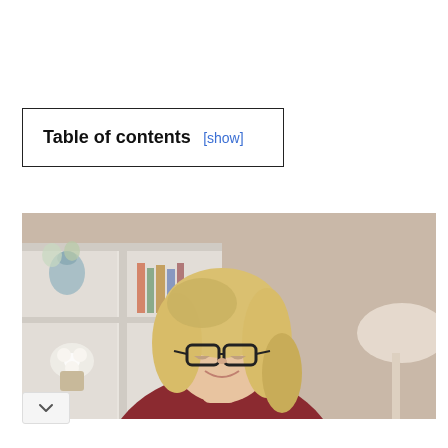Table of contents [show]
[Figure (photo): A blonde woman wearing glasses and a dark red/maroon cardigan, looking downward and smiling, with a white bookshelf and decorative items in the blurred background.]